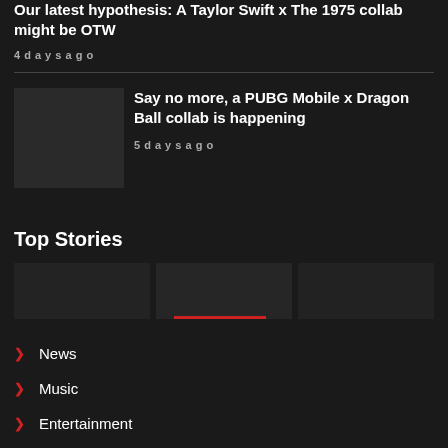Our latest hypothesis: A Taylor Swift x The 1975 collab might be OTW
4 days ago
Say no more, a PUBG Mobile x Dragon Ball collab is happening
5 days ago
Top Stories
News
Music
Entertainment
Style